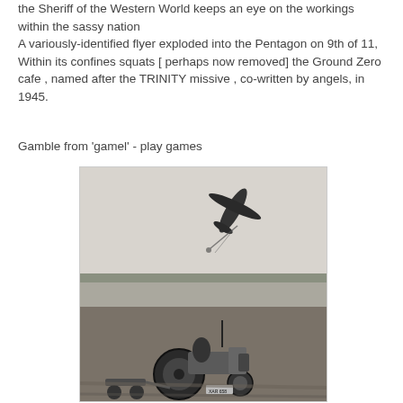the Sheriff of the Western World keeps an eye on the workings within the sassy nation
A variously-identified flyer exploded into the Pentagon on 9th of 11, Within its confines squats [ perhaps now removed] the Ground Zero cafe , named after the TRINITY missive , co-written by angels, in 1945.
Gamble from 'gamel' - play games
[Figure (photo): Black and white photograph showing a tractor (with license plate XAR 658) in a field, with a large aircraft visible in the upper portion of the image appearing to fly low or crash, with streaks suggesting motion or debris.]